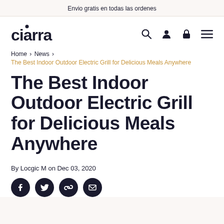Envio gratis en todas las ordenes
[Figure (logo): ciarra brand logo with dot above i]
Home › News › The Best Indoor Outdoor Electric Grill for Delicious Meals Anywhere
The Best Indoor Outdoor Electric Grill for Delicious Meals Anywhere
By Locgic M on Dec 03, 2020
[Figure (other): Social sharing icons: Facebook, Twitter, Link, Email]